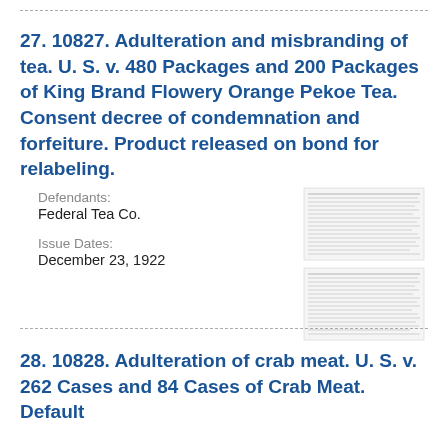27. 10827. Adulteration and misbranding of tea. U. S. v. 480 Packages and 200 Packages of King Brand Flowery Orange Pekoe Tea. Consent decree of condemnation and forfeiture. Product released on bond for relabeling.
Defendants:
Federal Tea Co.
Issue Dates:
December 23, 1922
[Figure (other): Small thumbnail image of a printed document page]
28. 10828. Adulteration of crab meat. U. S. v. 262 Cases and 84 Cases of Crab Meat. Default